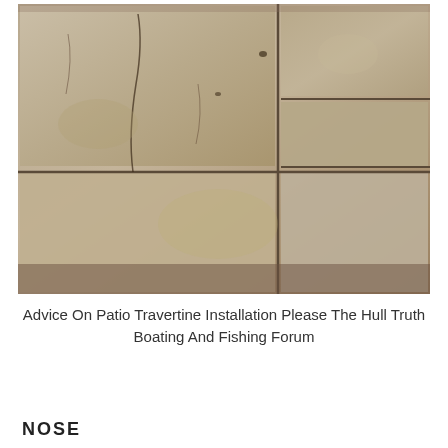[Figure (photo): Close-up photograph of travertine stone tile flooring, showing large beige/tan stone tiles with visible grout lines, cracks, and natural surface texture. The tiles are laid in an irregular pattern with wide joints.]
Advice On Patio Travertine Installation Please The Hull Truth Boating And Fishing Forum